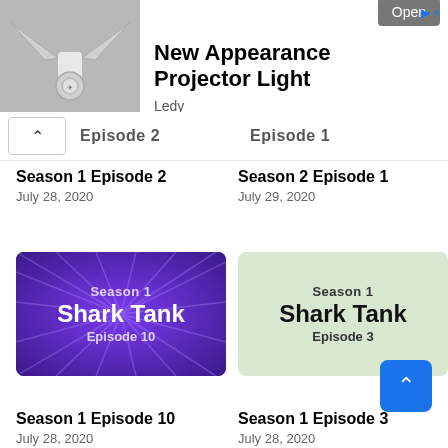[Figure (screenshot): Advertisement banner: photo of a projector light with wing-shaped fins on grey background, with title 'New Appearance Projector Light', brand 'Ledy', and an 'Open' button]
Episode 2
Episode 1
Season 1 Episode 2
July 28, 2020
Season 2 Episode 1
July 29, 2020
[Figure (illustration): Thumbnail for Shark Tank Season 1 Episode 10, purple background with sunburst rays, text: Season 1, Shark Tank, Episode 10]
[Figure (illustration): Thumbnail for Shark Tank Season 1 Episode 3, light green background, text: Season 1, Shark Tank, Episode 3]
Season 1 Episode 10
July 28, 2020
Season 1 Episode 3
July 28, 2020